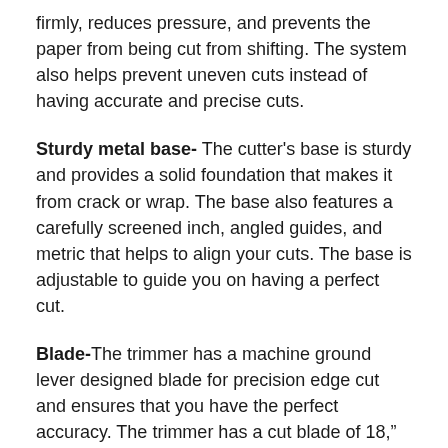firmly, reduces pressure, and prevents the paper from being cut from shifting. The system also helps prevent uneven cuts instead of having accurate and precise cuts.
Sturdy metal base- The cutter's base is sturdy and provides a solid foundation that makes it from crack or wrap. The base also features a carefully screened inch, angled guides, and metric that helps to align your cuts. The base is adjustable to guide you on having a perfect cut.
Blade-The trimmer has a machine ground lever designed blade for precision edge cut and ensures that you have the perfect accuracy. The trimmer has a cut blade of 18," and this makes it perfect for cutting professional papers. The cut blade can cut a single piece of paper or 15 sheets.